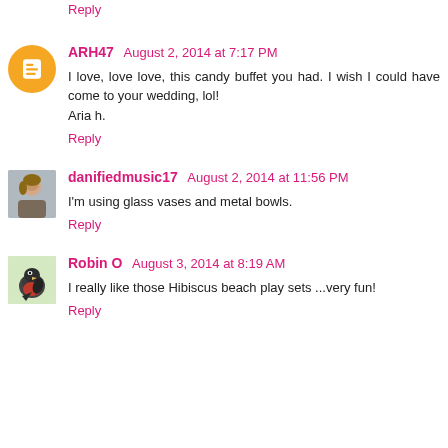Reply
ARH47  August 2, 2014 at 7:17 PM
I love, love love, this candy buffet you had. I wish I could have come to your wedding, lol!
Aria h.
Reply
danifiedmusic17  August 2, 2014 at 11:56 PM
I'm using glass vases and metal bowls.
Reply
Robin O  August 3, 2014 at 8:19 AM
I really like those Hibiscus beach play sets ...very fun!
Reply